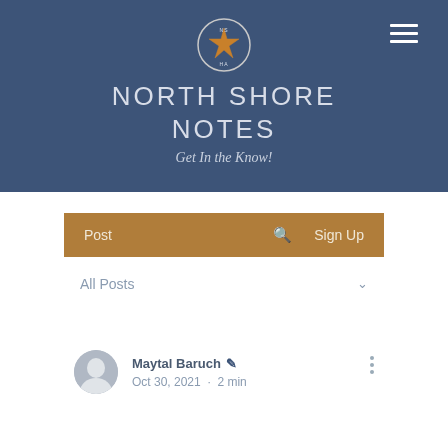[Figure (logo): NSHA star logo emblem in circular badge form, white on dark blue background]
NORTH SHORE NOTES
Get In the Know!
Post   Search   Sign Up
All Posts
Maytal Baruch  Oct 30, 2021 · 2 min